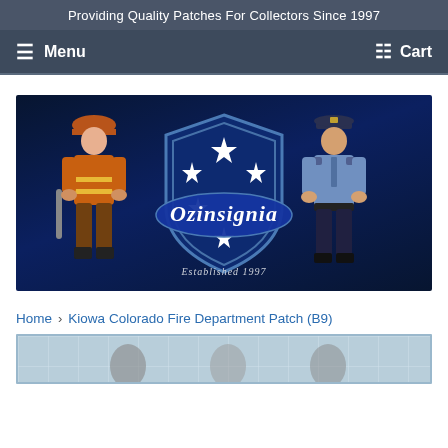Providing Quality Patches For Collectors Since 1997
Menu   Cart
[Figure (logo): Ozinsignia logo: dark blue shield with white stars (Southern Cross), script text 'Ozinsignia', firefighter figure on left, police officer on right, 'Established 1997' text at bottom]
Home > Kiowa Colorado Fire Department Patch (B9)
[Figure (photo): Bottom portion of a product photo showing what appears to be fire department patches on a grid background, partially visible]